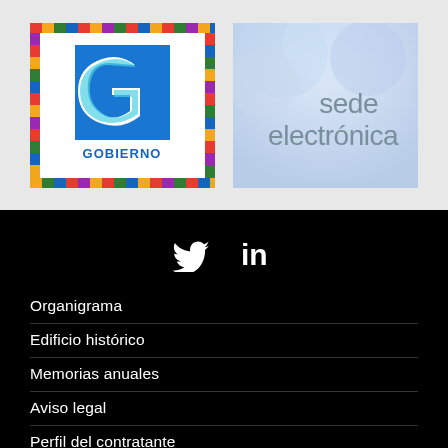[Figure (logo): Gobierno de España logo with colorful mosaic border and blue square with stylized 'G' in white/teal, text 'GOBIERNO' below]
[Figure (logo): Sede electrónica logo with blue/lavender background with translucent circles, text 'sede electrónica' in gray]
[Figure (logo): Social media icons: Twitter bird icon and LinkedIn 'in' icon in white on black background]
Organigrama
Edificio histórico
Memorias anuales
Aviso legal
Perfil del contratante